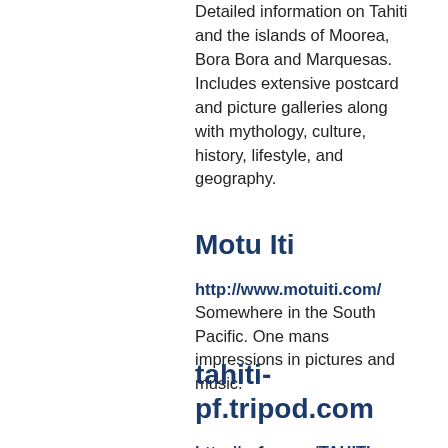Detailed information on Tahiti and the islands of Moorea, Bora Bora and Marquesas. Includes extensive postcard and picture galleries along with mythology, culture, history, lifestyle, and geography.
Motu Iti
http://www.motuiti.com/
Somewhere in the South Pacific. One mans impressions in pictures and music.
tahiti-pf.tripod.com
http://nr1a.com/TAHITI
Includes information about French Polynesia